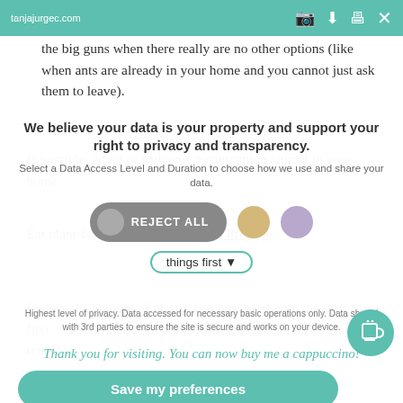tanjajurgec.com
the big guns when there really are no other options (like when ants are already in your home and you cannot just ask them to leave).
If possible, adopt or welcome a companion animal in your home.
Eat plant-based and adopt a vegan lifestyle.
Reduce the amount of plastic you buy. Start with the little things first — like glitter, straws and plastic bags. Once you get your reusable at... if what you...
We believe your data is your property and support your right to privacy and transparency.
Select a Data Access Level and Duration to choose how we use and share your data.
REJECT ALL
things first ▾
Highest level of privacy. Data accessed for necessary basic operations only. Data shared with 3rd parties to ensure the site is secure and works on your device.
Thank you for visiting. You can now buy me a cappuccino!
Save my preferences
I always want to encourage everyone to strive